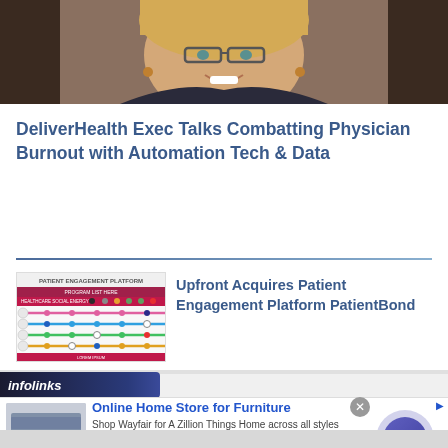[Figure (photo): Headshot of a smiling woman with short blonde hair and glasses, wearing a dark jacket, against a dark background]
DeliverHealth Exec Talks Combatting Physician Burnout with Automation Tech & Data
[Figure (infographic): Thumbnail image of Patient Engagement Platform diagram showing horizontal colored lines representing patient engagement layers with dots]
Upfront Acquires Patient Engagement Platform PatientBond
[Figure (screenshot): Infolinks advertisement banner: 'Online Home Store for Furniture - Shop Wayfair for A Zillion Things Home across all styles - www.wayfair.com' with a navigation arrow button]